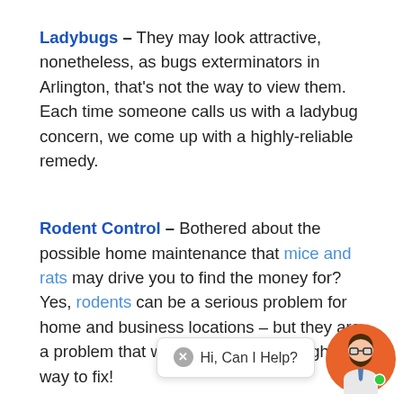Ladybugs – They may look attractive, nonetheless, as bugs exterminators in Arlington, that's not the way to view them. Each time someone calls us with a ladybug concern, we come up with a highly-reliable remedy.
Rodent Control – Bothered about the possible home maintenance that mice and rats may drive you to find the money for? Yes, rodents can be a serious problem for home and business locations – but they are a problem that we are aware of the right way to fix!
Mosquitos – Mosquito Control is... [partially obscured by chat widget] that we're called to deal with ... you're experiencing a mosquito issue in your home or